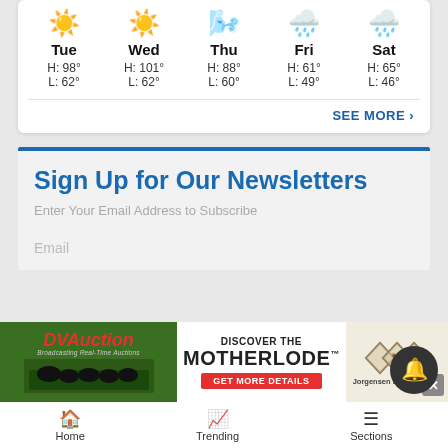| Tue | Wed | Thu | Fri | Sat |
| --- | --- | --- | --- | --- |
| H: 98° | H: 101° | H: 88° | H: 61° | H: 65° |
| L: 62° | L: 62° | L: 60° | L: 49° | L: 46° |
SEE MORE ›
Sign Up for Our Newsletters
Enter Your Email Address to Subscribe
Email
[Figure (photo): DVAuction advertisement banner: 'Discover The Motherlode™ - Get More Details' with Jorgensen Land & Cattle logo and cattle photo]
Home   Trending   Sections